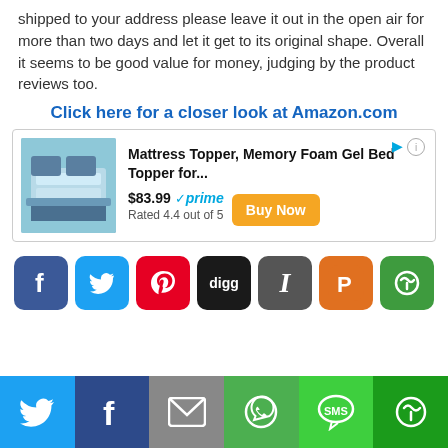shipped to your address please leave it out in the open air for more than two days and let it get to its original shape. Overall it seems to be good value for money, judging by the product reviews too.
Click here for a closer look at Amazon.com
[Figure (other): Amazon advertisement box for Mattress Topper, Memory Foam Gel Bed Topper. Price $83.99, Prime eligible, Rated 4.4 out of 5, with Buy Now button.]
[Figure (other): Row of social sharing icon buttons: Facebook, Twitter, Pinterest, Digg, Instapaper, Plurk, More.]
[Figure (other): Bottom share bar with Twitter, Facebook, Email, WhatsApp, SMS, More buttons.]